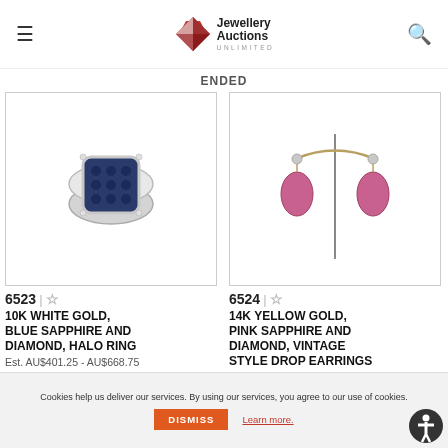Jewellery Auctions Unlimited
ENDED
[Figure (photo): Photo of a 10K white gold, blue sapphire and diamond halo ring on white background]
6523 | ☆
10K WHITE GOLD, BLUE SAPPHIRE AND DIAMOND, HALO RING
Est. AU$401.25 - AU$668.75
[Figure (photo): Photo of 14K yellow gold, pink sapphire and diamond vintage style drop earrings on display stand]
6524 | ☆
14K YELLOW GOLD, PINK SAPPHIRE AND DIAMOND, VINTAGE STYLE DROP EARRINGS
Cookies help us deliver our services. By using our services, you agree to our use of cookies. DISMISS Learn more.